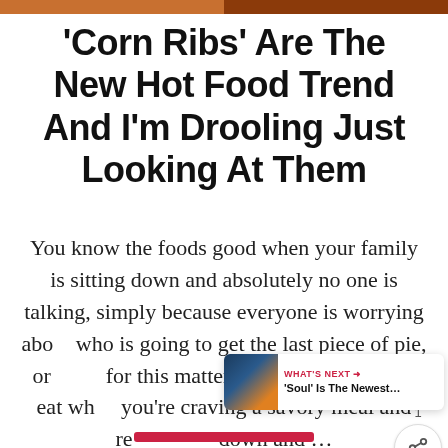[Figure (photo): Partial photo strip at top of page showing food images]
'Corn Ribs' Are The New Hot Food Trend And I'm Drooling Just Looking At Them
You know the foods good when your family is sitting down and absolutely no one is talking, simply because everyone is worrying about who is going to get the last piece of pie, or for this matter. Ribs are amazing to eat when you're craving a savory meal and ready to sit down and …